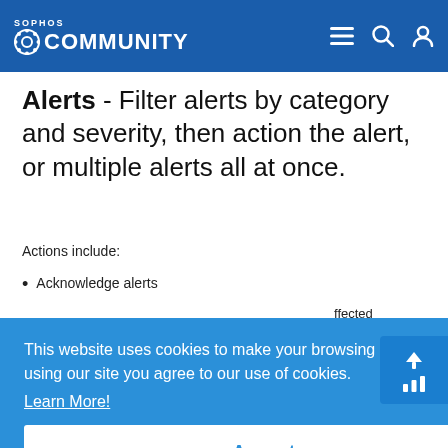SOPHOS COMMUNITY
Alerts - Filter alerts by category and severity, then action the alert, or multiple alerts all at once.
Actions include:
Acknowledge alerts
...ffected ...anted to
[Figure (screenshot): Cookie consent banner overlay on Sophos Community page reading: This website uses cookies to make your browsing experience better. By using our site you agree to our use of cookies. Learn More! with an Accept button below.]
[Figure (screenshot): Blue scroll-to-top button with upward arrow and bar chart icon in bottom right corner.]
[Figure (screenshot): Partial screenshot of a Sophos interface table at the bottom of the page.]